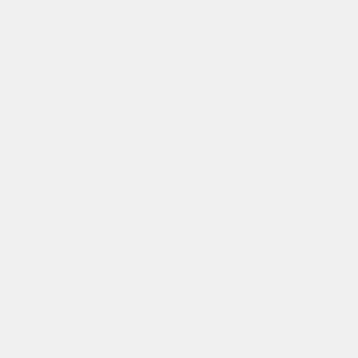2017, forgetting that he's now called grandson he won't acknowledge.
One day, after Biden insulted Mr. P... Corn and his straight razor and kn... buddies told him to meet them outsi... length of heavy chain, apparently a... Corn Pop face to face — bu... immediately defused the situation an... BFF's with that "bad dude," for like,
While visiting a Mack truck facility i... stated he "used to drive an 18-w... House staff quickly covered for "Po... showing a newspaper article arou... Biden once briefly caught a ride in a... 1973.
On a visit to Idaho in September of... indicated that his "first job offer"... company called Boise Cascade. ("N... his audience, to a lengthy set of a... guffaws.) The company said it ha...